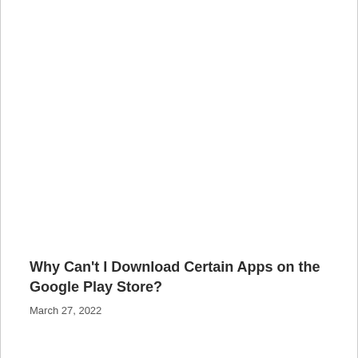Why Can't I Download Certain Apps on the Google Play Store?
March 27, 2022